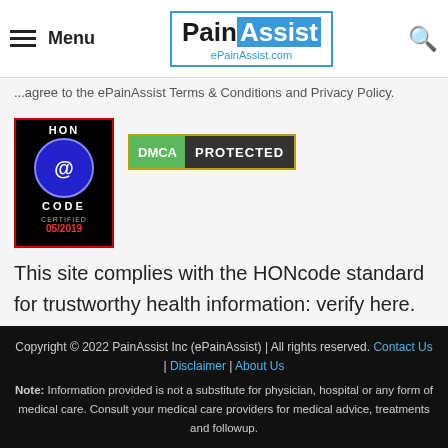Menu | PainAssist ePainAssist.com
...agree to the ePainAssist Terms & Conditions and Privacy Policy.
[Figure (logo): HON code certified 05/2019 badge and DMCA Protected badge]
This site complies with the HONcode standard for trustworthy health information: verify here.
Copyright © 2022 PainAssist Inc (ePainAssist) | All rights reserved. Contact Us | Disclaimer | About Us
Note: Information provided is not a substitute for physician, hospital or any form of medical care. Consult your medical care providers for medical advice, treatments and followup.